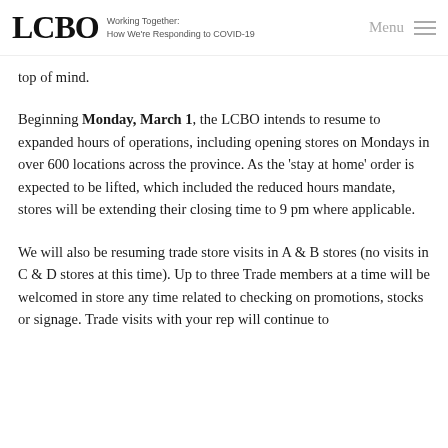LCBO Working Together: How We're Responding to COVID-19 | Menu
top of mind.
Beginning Monday, March 1, the LCBO intends to resume to expanded hours of operations, including opening stores on Mondays in over 600 locations across the province. As the ‘stay at home’ order is expected to be lifted, which included the reduced hours mandate, stores will be extending their closing time to 9 pm where applicable.
We will also be resuming trade store visits in A & B stores (no visits in C & D stores at this time). Up to three Trade members at a time will be welcomed in store any time related to checking on promotions, stocks or signage. Trade visits with your rep will continue to